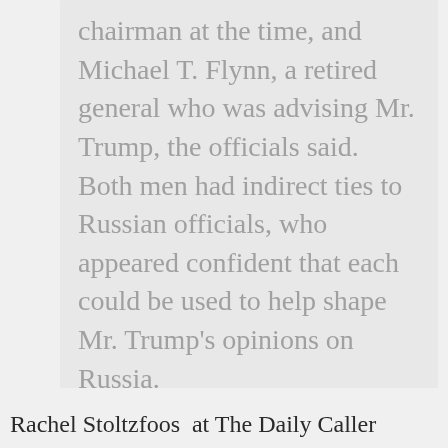chairman at the time, and Michael T. Flynn, a retired general who was advising Mr. Trump, the officials said. Both men had indirect ties to Russian officials, who appeared confident that each could be used to help shape Mr. Trump's opinions on Russia.
Rachel Stoltzfoos at The Daily Caller